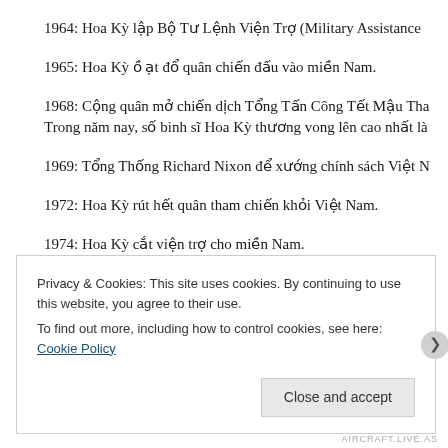1964: Hoa Kỳ lập Bộ Tư Lệnh Viện Trợ (Military Assistance
1965: Hoa Kỳ ồ ạt đổ quân chiến đấu vào miền Nam.
1968: Cộng quân mở chiến dịch Tổng Tấn Công Tết Mậu Thân. Trong năm nay, số binh sĩ Hoa Kỳ thương vong lên cao nhất là
1969: Tổng Thống Richard Nixon để xướng chính sách Việt N
1972: Hoa Kỳ rút hết quân tham chiến khỏi Việt Nam.
1974: Hoa Kỳ cắt viện trợ cho miền Nam.
Privacy & Cookies: This site uses cookies. By continuing to use this website, you agree to their use. To find out more, including how to control cookies, see here: Cookie Policy